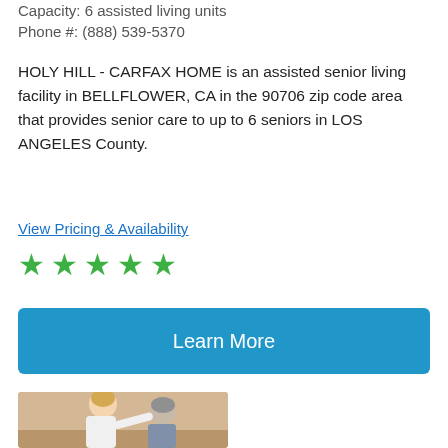Capacity: 6 assisted living units
Phone #: (888) 539-5370
HOLY HILL - CARFAX HOME is an assisted senior living facility in BELLFLOWER, CA in the 90706 zip code area that provides senior care to up to 6 seniors in LOS ANGELES County.
View Pricing & Availability
[Figure (other): Five green star rating icons]
Learn More
[Figure (photo): A female caregiver in white smiling and leaning toward an elderly woman with gray hair in a care setting]